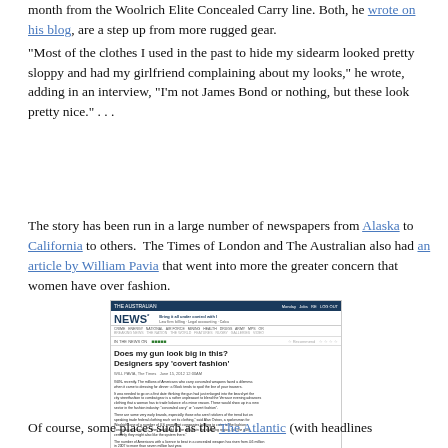month from the Woolrich Elite Concealed Carry line. Both, he wrote on his blog, are a step up from more rugged gear.
"Most of the clothes I used in the past to hide my sidearm looked pretty sloppy and had my girlfriend complaining about my looks," he wrote, adding in an interview, "I'm not James Bond or nothing, but these look pretty nice." . . .
The story has been run in a large number of newspapers from Alaska to California to others. The Times of London and The Australian also had an article by William Pavia that went into more the greater concern that women have over fashion.
[Figure (screenshot): Screenshot of The Australian newspaper website showing an article titled 'Does my gun look big in this? Designers spy covert fashion']
Of course, some places such as the The Atlantic (with headlines